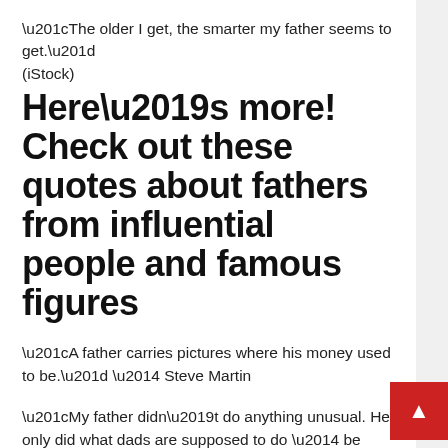“The older I get, the smarter my father seems to get.”
(iStock)
Here’s more! Check out these quotes about fathers from influential people and famous figures
“A father carries pictures where his money used to be.” — Steve Martin
“My father didn’t do anything unusual. He only did what dads are supposed to do — be there.”